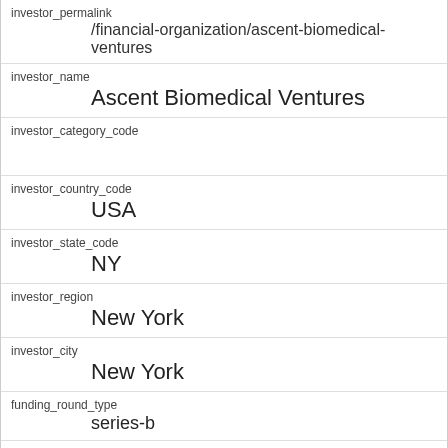| investor_permalink | /financial-organization/ascent-biomedical-ventures |
| investor_name | Ascent Biomedical Ventures |
| investor_category_code |  |
| investor_country_code | USA |
| investor_state_code | NY |
| investor_region | New York |
| investor_city | New York |
| funding_round_type | series-b |
| funded_at | 1342396800 |
| funded_year | 2012 |